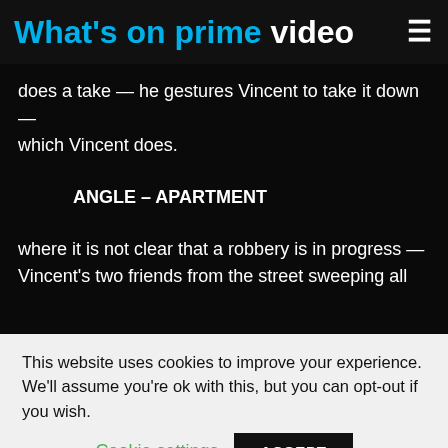What's on prime video
does a take — he gestures Vincent to take it down — which Vincent does.
ANGLE – APARTMENT
where it is not clear that a robbery is in progress — Vincent's two friends from the street sweeping all
This website uses cookies to improve your experience. We'll assume you're ok with this, but you can opt-out if you wish.
Cookie settings  ACCEPT